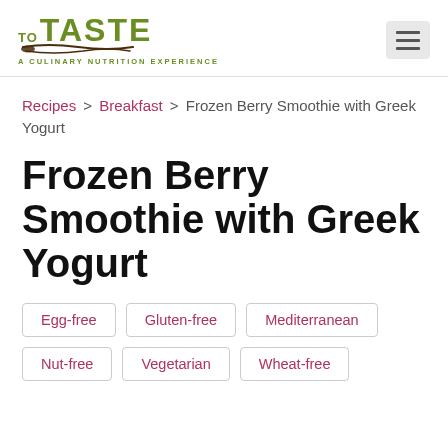To Taste — A Culinary Nutrition Experience (logo and navigation)
Recipes > Breakfast > Frozen Berry Smoothie with Greek Yogurt
Frozen Berry Smoothie with Greek Yogurt
Egg-free
Gluten-free
Mediterranean
Nut-free
Vegetarian
Wheat-free